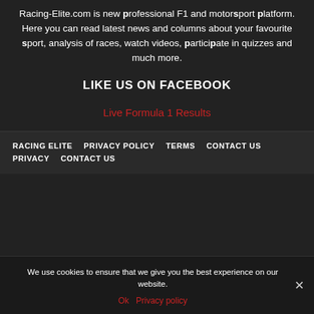Racing-Elite.com is new professional F1 and motorsport platform. Here you can read latest news and columns about your favourite sport, analysis of races, watch videos, participate in quizzes and much more.
LIKE US ON FACEBOOK
Live Formula 1 Results
RACING ELITE   PRIVACY POLICY   TERMS   CONTACT US   PRIVACY   CONTACT US
We use cookies to ensure that we give you the best experience on our website.
Ok   Privacy policy